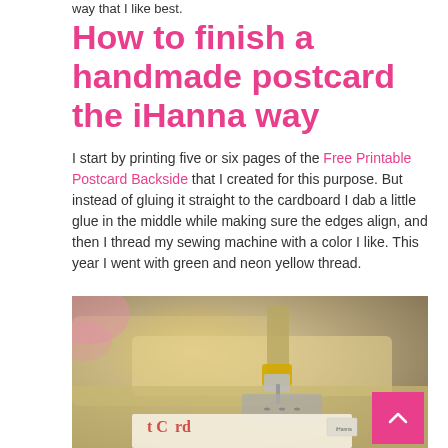way that I like best.
How to finish a handmade postcard the iHanna way
I start by printing five or six pages of the Free Printable Postcard Backside that I created for this purpose. But instead of gluing it straight to the cardboard I dab a little glue in the middle while making sure the edges align, and then I thread my sewing machine with a color I like. This year I went with green and neon yellow thread.
[Figure (photo): Close-up photograph of a sewing machine needle area with gold metalwork, stitching a postcard with red text visible at the bottom edge. A pink scroll-to-top button is overlaid in the bottom right corner.]